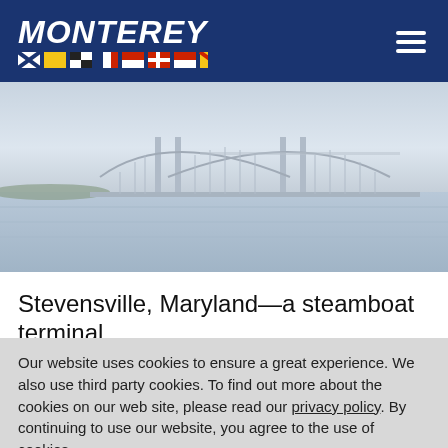MONTEREY
[Figure (photo): Wide photograph of a suspension bridge (Chesapeake Bay Bridge) seen from the water, with pale sky and calm water in the foreground, muted blue-grey tones.]
Stevensville, Maryland—a steamboat terminal
Our website uses cookies to ensure a great experience. We also use third party cookies. To find out more about the cookies on our web site, please read our privacy policy. By continuing to use our website, you agree to the use of cookies.
Accept